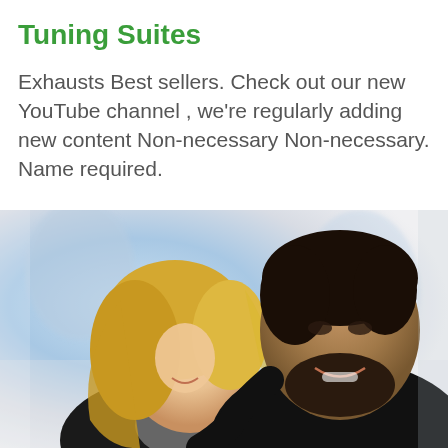Tuning Suites
Exhausts Best sellers. Check out our new YouTube channel , we're regularly adding new content Non-necessary Non-necessary. Name required.
[Figure (photo): A smiling blonde woman and a dark-haired bearded man laughing together, photographed in a bright, blurred indoor setting. The man has his arm around the woman.]